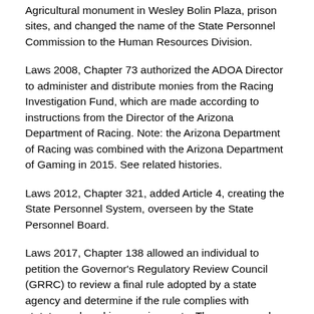Agricultural monument in Wesley Bolin Plaza, prison sites, and changed the name of the State Personnel Commission to the Human Resources Division.
Laws 2008, Chapter 73 authorized the ADOA Director to administer and distribute monies from the Racing Investigation Fund, which are made according to instructions from the Director of the Arizona Department of Racing. Note: the Arizona Department of Racing was combined with the Arizona Department of Gaming in 2015. See related histories.
Laws 2012, Chapter 321, added Article 4, creating the State Personnel System, overseen by the State Personnel Board.
Laws 2017, Chapter 138 allowed an individual to petition the Governor's Regulatory Review Council (GRRC) to review a final rule adopted by a state agency and determine if the rule complies with statutory rulemaking requirements. The measure also outlined the procedures GRRC must follow to make a determination. If GRRC determines the rule does not meet rulemaking requirements, the rule is void. Each agency and the Secretary of State must post a notice on their website of an